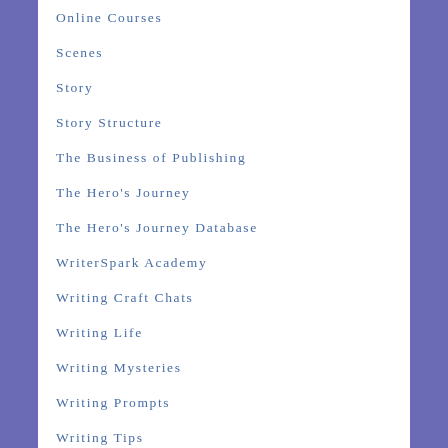Online Courses
Scenes
Story
Story Structure
The Business of Publishing
The Hero's Journey
The Hero's Journey Database
WriterSpark Academy
Writing Craft Chats
Writing Life
Writing Mysteries
Writing Prompts
Writing Tips